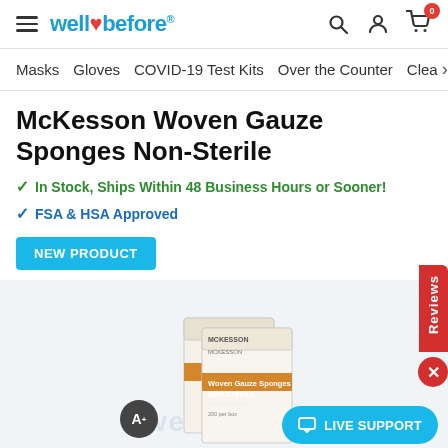well before
Masks
Gloves
COVID-19 Test Kits
Over the Counter
Clea→
McKesson Woven Gauze Sponges Non-Sterile
✓ In Stock, Ships Within 48 Business Hours or Sooner!
✓ FSA & HSA Approved
NEW PRODUCT
[Figure (photo): McKesson Woven Gauze Sponges Non-Sterile product box with orange branding, showing two boxes stacked.]